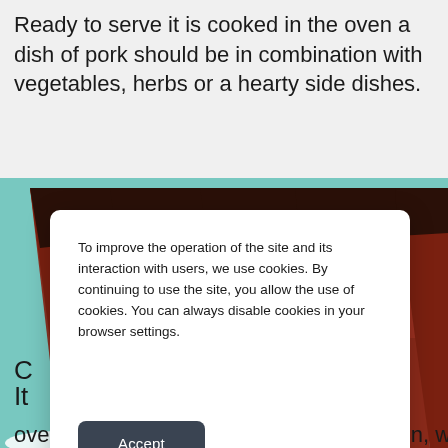Ready to serve it is cooked in the oven a dish of pork should be in combination with vegetables, herbs or a hearty side dishes.
[Figure (photo): Close-up photo of grilled or roasted pork ribs with charred edges on a teal/mint background]
To improve the operation of the site and its interaction with users, we use cookies. By continuing to use the site, you allow the use of cookies. You can always disable cookies in your browser settings.
Accept
C
It
oven. It's a simple dish of pork in the oven, which does